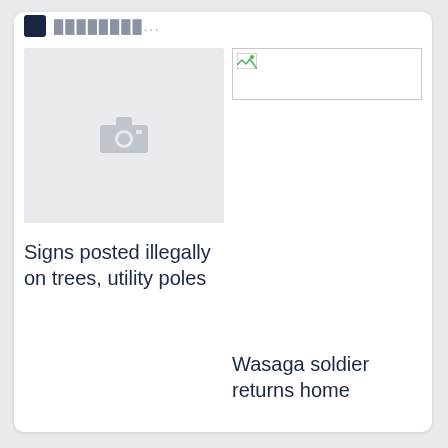████████...
[Figure (photo): Gray photo placeholder with camera icon]
[Figure (photo): Broken image placeholder with small icon]
Signs posted illegally on trees, utility poles
Wasaga soldier returns home